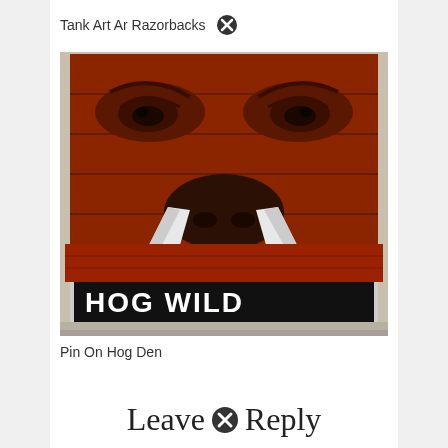Tank Art Ar Razorbacks
[Figure (photo): A wooden bench painted red with a large Razorback hog face artwork on the backrest. The front panel of the bench reads 'HOG WILD' in large white letters on a black background.]
Pin On Hog Den
Leave Reply